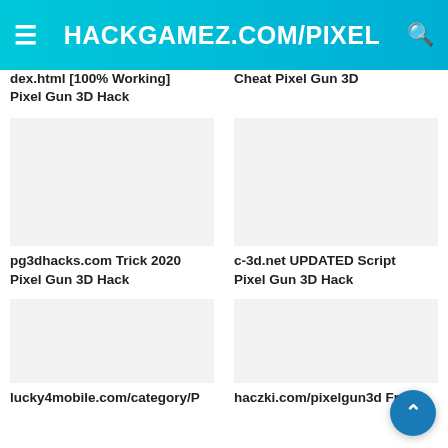HACKGAMEZ.COM/PIXEL
dex.html [100% Working] Pixel Gun 3D Hack
Cheat Pixel Gun 3D
pg3dhacks.com Trick 2020 Pixel Gun 3D Hack
c-3d.net UPDATED Script Pixel Gun 3D Hack
lucky4mobile.com/category/P
haczki.com/pixelgun3d Free